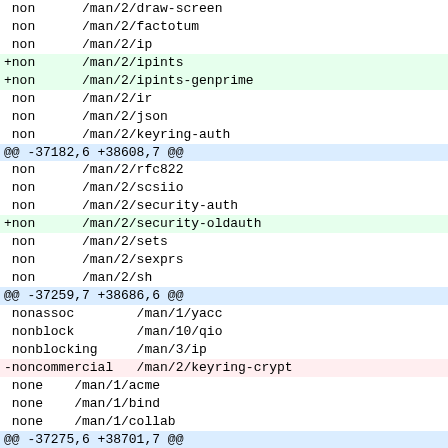diff output showing file changes with added/removed lines and hunk headers
non      /man/2/draw-screen
non      /man/2/factotum
non      /man/2/ip
+non      /man/2/ipints
+non      /man/2/ipints-genprime
non      /man/2/ir
non      /man/2/json
non      /man/2/keyring-auth
@@ -37182,6 +38608,7 @@
non      /man/2/rfc822
non      /man/2/scsiio
non      /man/2/security-auth
+non      /man/2/security-oldauth
non      /man/2/sets
non      /man/2/sexprs
non      /man/2/sh
@@ -37259,7 +38686,6 @@
nonassoc        /man/1/yacc
nonblock        /man/10/qio
nonblocking     /man/3/ip
-noncommercial   /man/2/keyring-crypt
none    /man/1/acme
none    /man/1/bind
none    /man/1/collab
@@ -37275,6 +38701,7 @@
none    /man/1/sh
none    /man/1/sh-std
none    /man/1/uuencode
+none    /man/1/vixen
none    /man/10/plan9.ini